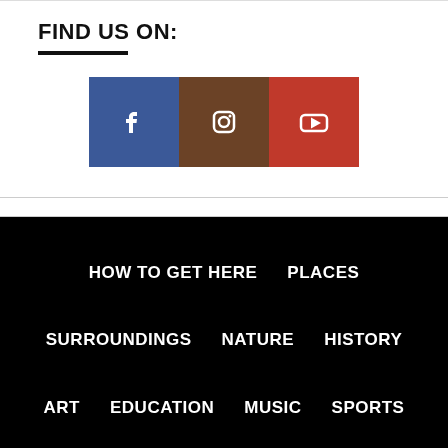FIND US ON:
[Figure (infographic): Three social media icon buttons: Facebook (blue), Instagram (brown), YouTube (red), displayed as square tiles with white icons]
HOW TO GET HERE
PLACES
SURROUNDINGS
NATURE
HISTORY
ART
EDUCATION
MUSIC
SPORTS